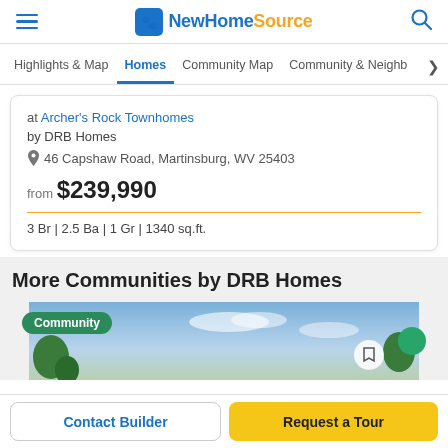NewHomeSource
Highlights & Map | Homes | Community Map | Community & Neighborho
at Archer's Rock Townhomes
by DRB Homes
46 Capshaw Road, Martinsburg, WV 25403
from $239,990
3 Br | 2.5 Ba | 1 Gr | 1340 sq.ft.
More Communities by DRB Homes
[Figure (photo): Community photo showing sky and trees with a green Community badge]
Contact Builder | Request a Tour